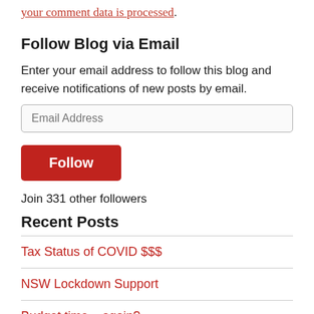your comment data is processed.
Follow Blog via Email
Enter your email address to follow this blog and receive notifications of new posts by email.
Email Address
Follow
Join 331 other followers
Recent Posts
Tax Status of COVID $$$
NSW Lockdown Support
Budget time....again?